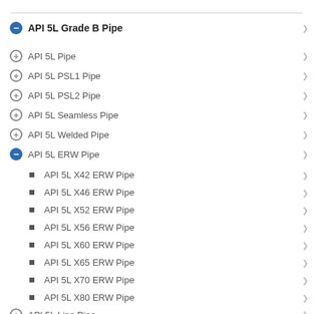API 5L Grade B Pipe
API 5L Pipe
API 5L PSL1 Pipe
API 5L PSL2 Pipe
API 5L Seamless Pipe
API 5L Welded Pipe
API 5L ERW Pipe
API 5L X42 ERW Pipe
API 5L X46 ERW Pipe
API 5L X52 ERW Pipe
API 5L X56 ERW Pipe
API 5L X60 ERW Pipe
API 5L X65 ERW Pipe
API 5L X70 ERW Pipe
API 5L X80 ERW Pipe
API 5L Line Pipe